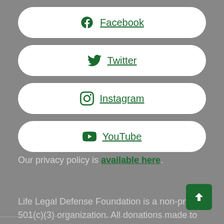Facebook
Twitter
Instagram
YouTube
Our privacy policy is available here.
Life Legal Defense Foundation is a non-profit 501(c)(3) organization. All donations made to Life Legal are tax-deductible.